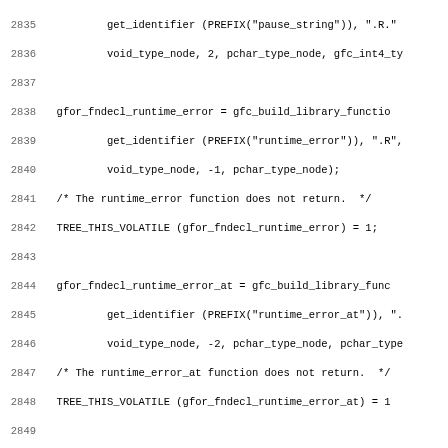Source code listing lines 2835-2866 showing GCC Fortran runtime function declarations in C